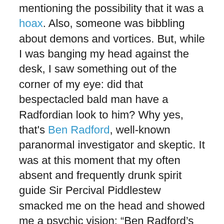mentioning the possibility that it was a hoax. Also, someone was bibbling about demons and vortices. But, while I was banging my head against the desk, I saw something out of the corner of my eye: did that bespectacled bald man have a Radfordian look to him? Why yes, that's Ben Radford, well-known paranormal investigator and skeptic. It was at this moment that my often absent and frequently drunk spirit guide Sir Percival Piddlestew smacked me on the head and showed me a psychic vision: “Ben Radford’s point of view will get short-shrift.” If you don’t believe I made this prediction, ask Bob. (Spoiler alert 2–James Randi owes me a cool million).
So, is the Amityville house still (or again, or for the first time) haunted? Nope, it’s fine. Apparently the ghosts and demons and assorted paranormal whatnot have packed up and moved across the country to Wolfe Manor in